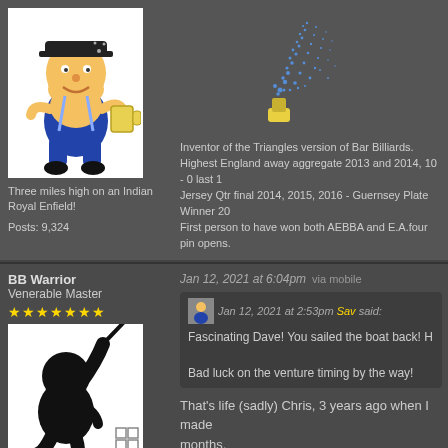[Figure (illustration): Cartoon avatar of a large bearded man in blue overalls holding a beer mug]
Three miles high on an Indian Royal Enfield!
Posts: 9,324
[Figure (illustration): Spray fountain graphic - blue water spray from a yellow nozzle]
Inventor of the Triangles version of Bar Billiards. Highest England away aggregate 2013 and 2014, 10 - 0 last 1 Jersey Qtr final 2014, 2015, 2016 - Guernsey Plate Winner 20 First person to have won both AEBBA and E.A.four pin opens.
BB Warrior
Venerable Master
[Figure (illustration): Ninja silhouette avatar - black figure with sword]
Posts: 9,004
Jan 12, 2021 at 6:04pm  via mobile
Jan 12, 2021 at 2:53pm Sav said: Fascinating Dave! You sailed the boat back! H Bad luck on the venture timing by the way!
That's life (sadly) Chris, 3 years ago when I made months.